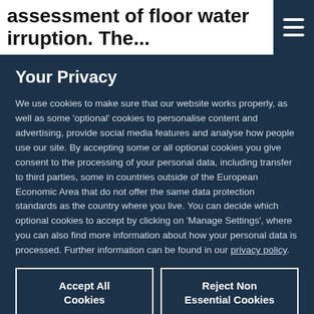assessment of floor water irruption. The...
Your Privacy
We use cookies to make sure that our website works properly, as well as some 'optional' cookies to personalise content and advertising, provide social media features and analyse how people use our site. By accepting some or all optional cookies you give consent to the processing of your personal data, including transfer to third parties, some in countries outside of the European Economic Area that do not offer the same data protection standards as the country where you live. You can decide which optional cookies to accept by clicking on 'Manage Settings', where you can also find more information about how your personal data is processed. Further information can be found in our privacy policy.
Accept All Cookies
Reject Non Essential Cookies
Manage Preferences